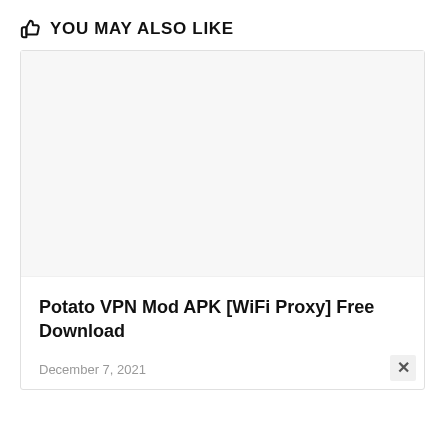YOU MAY ALSO LIKE
[Figure (other): Blank white image placeholder inside a card]
Potato VPN Mod APK [WiFi Proxy] Free Download
December 7, 2021